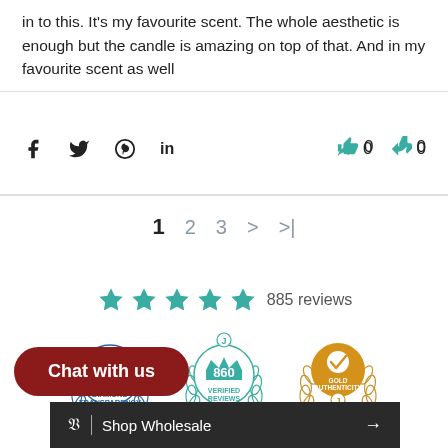in to this. It's my favourite scent. The whole aesthetic is enough but the candle is amazing on top of that. And in my favourite scent as well
Social share icons (Facebook, Twitter, Pinterest, LinkedIn) and vote buttons: thumbs up 0, thumbs down 0
Pagination: 1 2 3 > >|
[Figure (other): Five teal/green stars rating with text '885 reviews']
[Figure (other): Three Judge.me badges: Diamond Transparency, 860 Verified Reviews, Gold Authenticity. Text below: Verified by Judge.me]
Chat with us
Shop Wholesale →